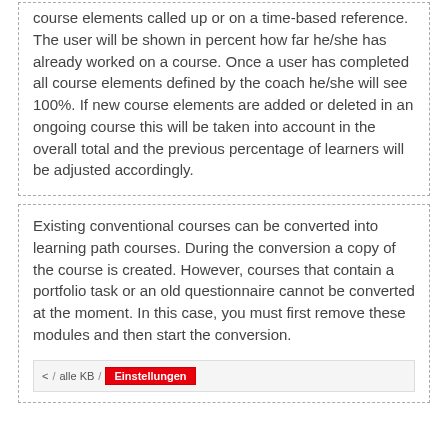course elements called up or on a time-based reference. The user will be shown in percent how far he/she has already worked on a course. Once a user has completed all course elements defined by the coach he/she will see 100%. If new course elements are added or deleted in an ongoing course this will be taken into account in the overall total and the previous percentage of learners will be adjusted accordingly.
Existing conventional courses can be converted into learning path courses. During the conversion a copy of the course is created. However, courses that contain a portfolio task or an old questionnaire cannot be converted at the moment. In this case, you must first remove these modules and then start the conversion.
[Figure (screenshot): Screenshot of a navigation bar showing breadcrumb: < / alle KB / Einstellungen (highlighted in red)]